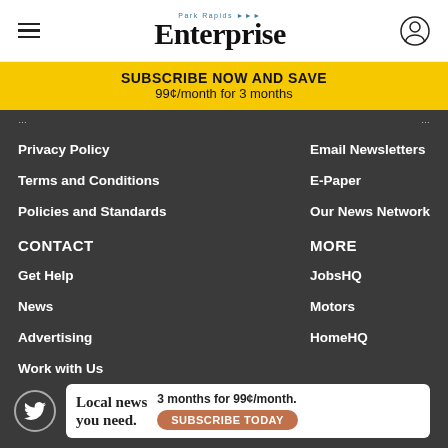Park Rapids Enterprise
SUBSCRIBE NOW AND SAVE
99¢/month for 3 months
Privacy Policy
Email Newsletters
Terms and Conditions
E-Paper
Policies and Standards
Our News Network
CONTACT
MORE
Get Help
JobsHQ
News
Motors
Advertising
HomeHQ
Work with Us
[Figure (logo): Twitter bird icon in circle]
Local news you need. 3 months for 99¢/month. SUBSCRIBE TODAY